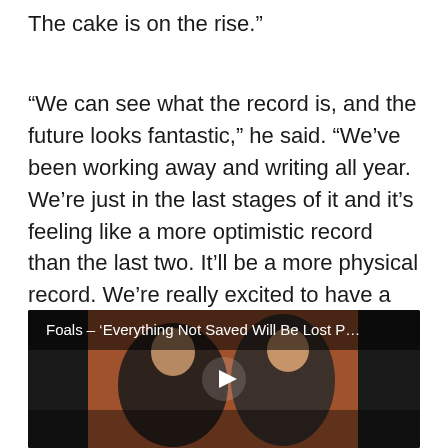The cake is on the rise.”
“We can see what the record is, and the future looks fantastic,” he said. “We’ve been working away and writing all year. We’re just in the last stages of it and it’s feeling like a more optimistic record than the last two. It’ll be a more physical record. We’re really excited to have a record that’s almost ready, but not quite.”
[Figure (screenshot): Video thumbnail showing two men against an orange background, with title text 'Foals – ‘Everything Not Saved Will Be Lost P...' and a play button overlay]